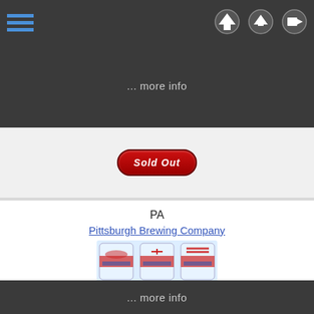Navigation bar with hamburger menu and home, upload, login icons
... more info
[Figure (other): Sold Out button in red oval shape with italic white text]
PA
Pittsburgh Brewing Company
[Figure (photo): Six cans of Iron City Bicentennial Series beer with flag designs arranged in two rows of three]
Iron City - Bicentennial Series (flags) - 6 cans
USBC 79-29 thru 79-34
$5.00
... more info